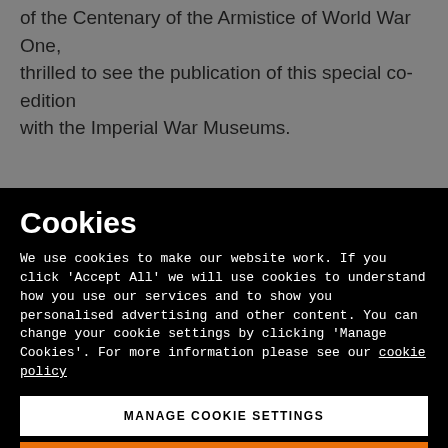of the Centenary of the Armistice of World War One, thrilled to see the publication of this special co-edition with the Imperial War Museums.
Cookies
We use cookies to make our website work. If you click 'Accept All' we will use cookies to understand how you use our services and to show you personalised advertising and other content. You can change your cookie settings by clicking 'Manage Cookies'. For more information please see our cookie policy
MANAGE COOKIE SETTINGS
ACCEPT ALL COOKIES